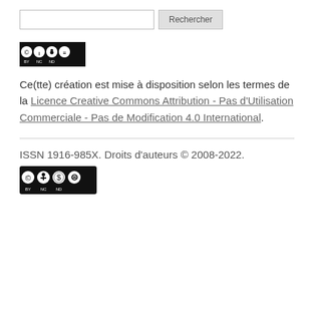[Figure (other): Search bar with text input and 'Rechercher' button]
[Figure (logo): Creative Commons BY-NC-ND license badge]
Ce(tte) création est mise à disposition selon les termes de la Licence Creative Commons Attribution - Pas d'Utilisation Commerciale - Pas de Modification 4.0 International.
ISSN 1916-985X. Droits d'auteurs © 2008-2022.
[Figure (logo): Creative Commons BY-NC-ND license badge (footer)]